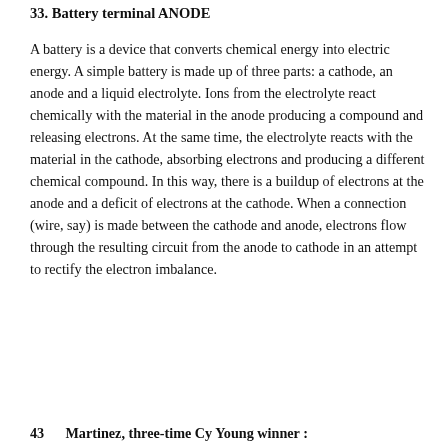33. Battery terminal ANODE
A battery is a device that converts chemical energy into electric energy. A simple battery is made up of three parts: a cathode, an anode and a liquid electrolyte. Ions from the electrolyte react chemically with the material in the anode producing a compound and releasing electrons. At the same time, the electrolyte reacts with the material in the cathode, absorbing electrons and producing a different chemical compound. In this way, there is a buildup of electrons at the anode and a deficit of electrons at the cathode. When a connection (wire, say) is made between the cathode and anode, electrons flow through the resulting circuit from the anode to cathode in an attempt to rectify the electron imbalance.
43      Martinez, three-time Cy Young winner :